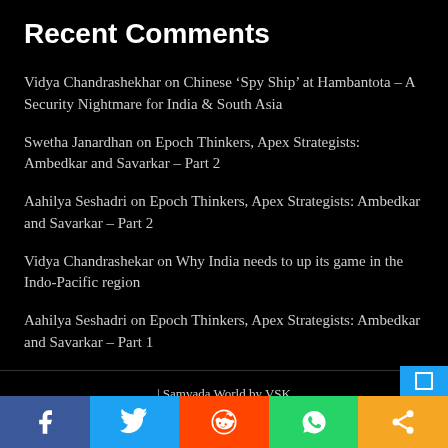Recent Comments
Vidya Chandrashekhar on Chinese ‘Spy Ship’ at Hambantota – A Security Nightmare for India & South Asia
Swetha Janardhan on Epoch Thinkers, Apex Strategists: Ambedkar and Savarkar – Part 2
Aahilya Seshadri on Epoch Thinkers, Apex Strategists: Ambedkar and Savarkar – Part 2
Vidya Chandrashekar on Why India needs to up its game in the Indo-Pacific region
Aahilya Seshadri on Epoch Thinkers, Apex Strategists: Ambedkar and Savarkar – Part 1
| Samvada World by VSK